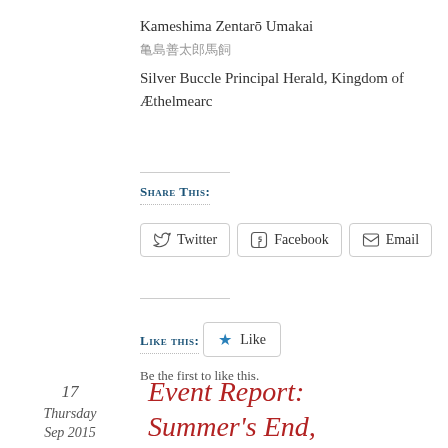Kameshima Zentarō Umakai
亀島善太郎馬飼
Silver Buccle Principal Herald, Kingdom of Æthelmearc
Share this:
Like this:
Be the first to like this.
17 Thursday Sep 2015
Event Report: Summer's End, Canton of Beau